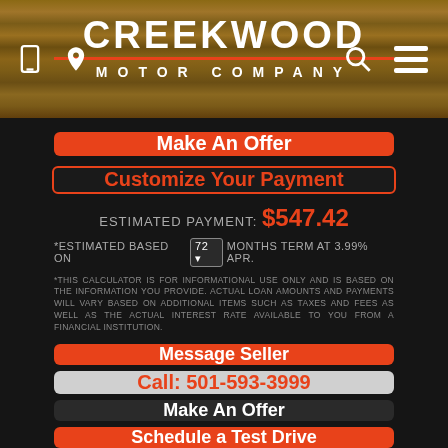CREEKWOOD MOTOR COMPANY
Make An Offer
Customize Your Payment
ESTIMATED PAYMENT: $547.42
*ESTIMATED BASED ON 72 MONTHS TERM AT 3.99% APR.
*THIS CALCULATOR IS FOR INFORMATIONAL USE ONLY AND IS BASED ON THE INFORMATION YOU PROVIDE. ACTUAL LOAN AMOUNTS AND PAYMENTS WILL VARY BASED ON ADDITIONAL ITEMS SUCH AS TAXES AND FEES AS WELL AS THE ACTUAL INTEREST RATE AVAILABLE TO YOU FROM A FINANCIAL INSTITUTION.
Message Seller
Call: 501-593-3999
Make An Offer
Schedule a Test Drive